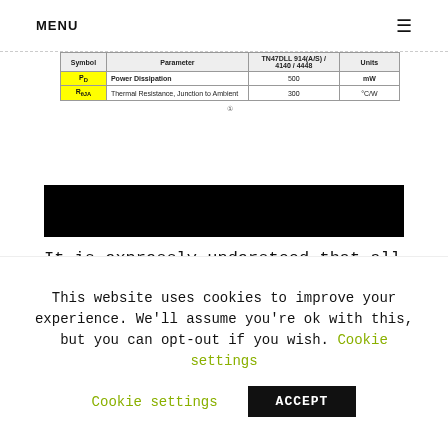MENU ≡
| Symbol | Parameter | TN47DLL 914(A/S) / 4140 / 4448 | Units |
| --- | --- | --- | --- |
| P_D | Power Dissipation | 500 | mW |
| R_θJA | Thermal Resistance, Junction to Ambient | 300 | °C/W |
[Figure (other): Redacted black bar covering content]
It is expressly understood that all Confidential Information transferred hereunder, and all copies, modifications
This website uses cookies to improve your experience. We'll assume you're ok with this, but you can opt-out if you wish. Cookie settings ACCEPT